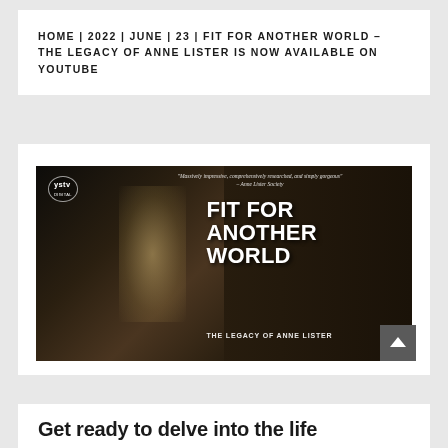HOME | 2022 | JUNE | 23 | FIT FOR ANOTHER WORLD – THE LEGACY OF ANNE LISTER IS NOW AVAILABLE ON YOUTUBE
[Figure (photo): Thumbnail image for the documentary 'Fit For Another World – The Legacy of Anne Lister'. Shows a young woman with long dark hair looking upward, in a dark atmospheric setting. The YSTV Digital logo appears top left. A quote reads 'Massively impressive, comprehensively researched, and simply gorgeous – Anne Lister Society'. Large bold white text reads 'FIT FOR ANOTHER WORLD – THE LEGACY OF ANNE LISTER'.]
Get ready to delve into the life